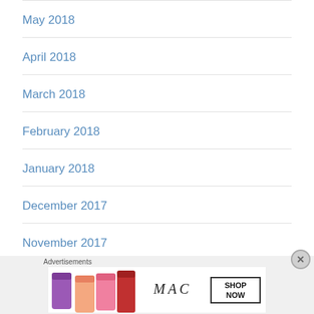May 2018
April 2018
March 2018
February 2018
January 2018
December 2017
November 2017
October 2017
[Figure (infographic): MAC cosmetics advertisement banner showing colorful lipsticks with MAC logo and SHOP NOW button]
Advertisements